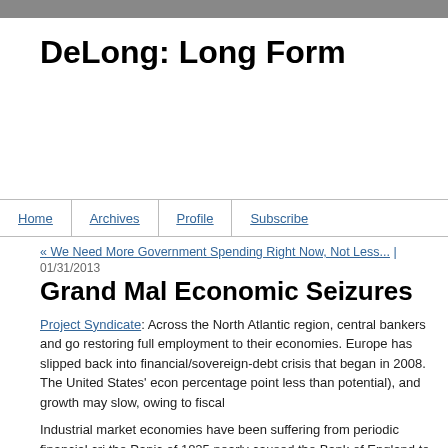DeLong: Long Form
Home | Archives | Profile | Subscribe
« We Need More Government Spending Right Now, Not Less... |
01/31/2013
Grand Mal Economic Seizures
Project Syndicate: Across the North Atlantic region, central bankers and go restoring full employment to their economies. Europe has slipped back into financial/sovereign-debt crisis that began in 2008. The United States' econ percentage point less than potential), and growth may slow, owing to fiscal
Industrial market economies have been suffering from periodic financial cri the Panic of 1825 nearly caused the Bank of England to collapse. Such ep jobs, entrepreneurs and equity holders who lose their profits, governments suffer the consequences of bankruptcy and shareholders who do not...